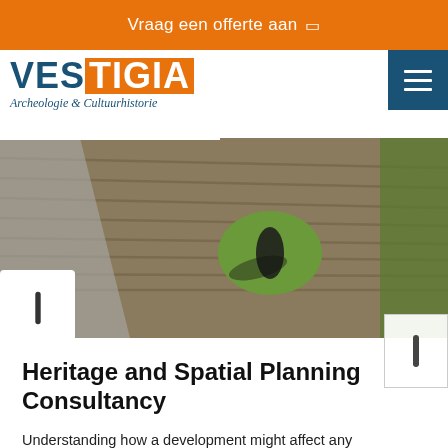Vraag een offerte aan
[Figure (logo): Vestigia Archeologie & Cultuurhistorie logo with orange background on 'VESTIGIA' and dark blue subtitle text in italic.]
[Figure (photo): Aerial photograph of a circular green crop mark in a ploughed brown agricultural field, with a road and green hedge visible.]
Heritage and Spatial Planning Consultancy
Understanding how a development might affect any archaeological- or other heritage remains is a requirement of the planning system in the Netherlands both on land and at sea. We provide expert guidance to